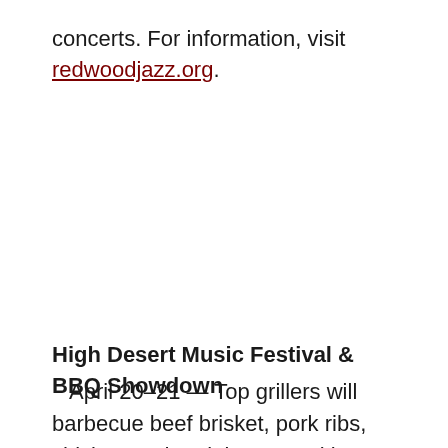concerts. For information, visit redwoodjazz.org.
High Desert Music Festival & BBQ Showdown
April 20–21 — Top grillers will barbecue beef brisket, pork ribs, chicken and pork in competition, and there will be pop, rock, country, soul and blues